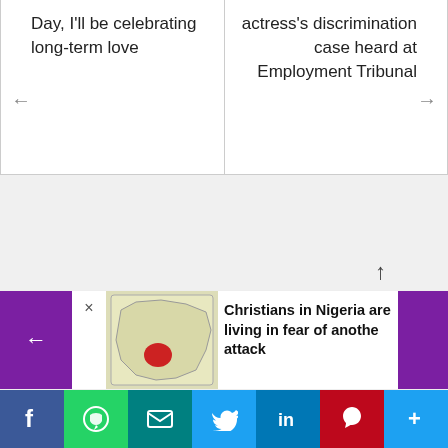Day, I'll be celebrating long-term love
actress's discrimination case heard at Employment Tribunal
[Figure (illustration): Large green circle with cross/plus symbol, partially visible, on light grey background]
[Figure (map): Map of Nigeria with a red highlighted region]
Christians in Nigeria are living in fear of another attack
[Figure (infographic): Social share bar with Facebook, WhatsApp, Email, Twitter, LinkedIn, Pinterest, and More buttons]